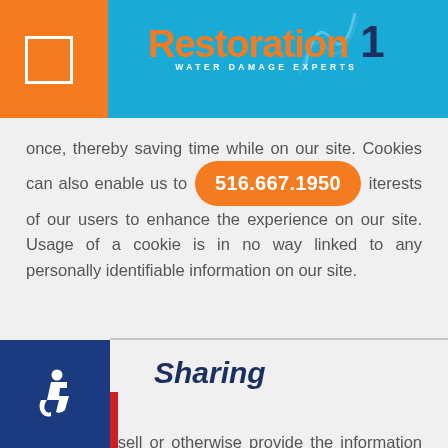[Figure (logo): Restoration 1 Water Damage Experts logo with blue background header bar and orange left panel]
once, thereby saving time while on our site. Cookies can also enable us to [516.667.1950] interests of our users to enhance the experience on our site. Usage of a cookie is in no way linked to any personally identifiable information on our site.
Sharing
We will not sell or otherwise provide the information we collect to outside third parties for the purpose of direct or indirect mass email marketing.
We will disclose personal information and/or an IP address, when required by law or in the good-faith belief that such action is necessary to: